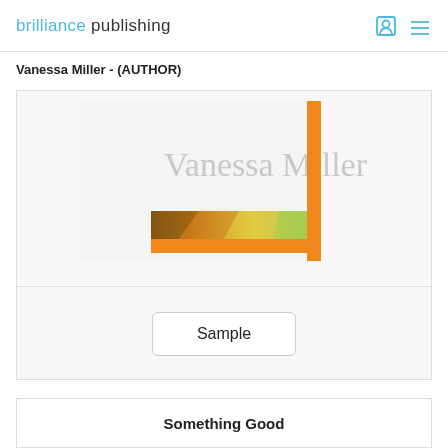brilliance publishing
Vanessa Miller - (AUTHOR)
[Figure (illustration): Book cover thumbnail showing 'Vanessa Miller' text in gray with an orange bracket/frame design and a colorful geometric polygon strip in orange-yellow-green gradient tones]
Sample
Something Good